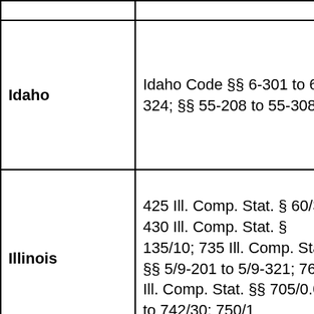|  |  |
| Idaho | Idaho Code §§ 6-301 to 6-324; §§ 55-208 to 55-308 |
| Illinois | 425 Ill. Comp. Stat. § 60/3; 430 Ill. Comp. Stat. § 135/10; 735 Ill. Comp. Stat. §§ 5/9-201 to 5/9-321; 765 Ill. Comp. Stat. §§ 705/0.01 to 742/30; 750/1 |